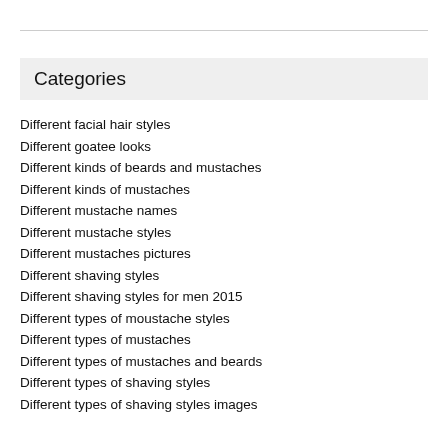Categories
Different facial hair styles
Different goatee looks
Different kinds of beards and mustaches
Different kinds of mustaches
Different mustache names
Different mustache styles
Different mustaches pictures
Different shaving styles
Different shaving styles for men 2015
Different types of moustache styles
Different types of mustaches
Different types of mustaches and beards
Different types of shaving styles
Different types of shaving styles images